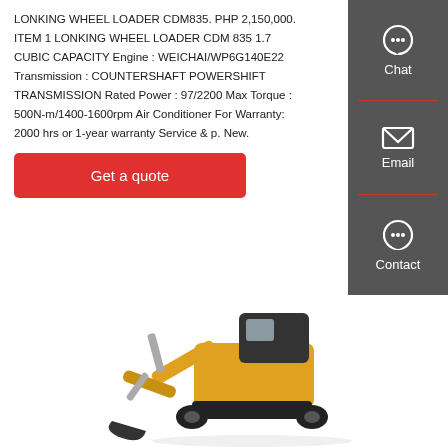LONKING WHEEL LOADER CDM835. PHP 2,150,000. ITEM 1 LONKING WHEEL LOADER CDM 835 1.7 CUBIC CAPACITY Engine : WEICHAI/WP6G140E22 Transmission : COUNTERSHAFT POWERSHIFT TRANSMISSION Rated Power : 97/2200 Max Torque : 500N-m/1400-1600rpm Air Conditioner For Warranty: 2000 hrs or 1-year warranty Service & p. New.
Get a quote
[Figure (other): Sidebar with chat, email, and contact icons on dark grey background]
[Figure (photo): Yellow and black mini excavator / compact excavator photographed on white background]